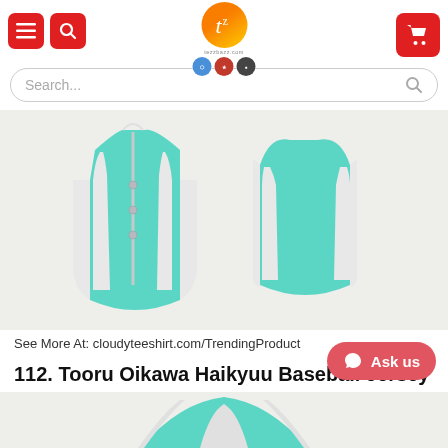Tezzbazz.com navigation header with menu, search, logo, and cart
Search...
[Figure (photo): Two views of a teal/mint green baseball jersey shirt with white stripe accents and buttons, displayed against a light gray background]
See More At: cloudyteeshirt.com/TrendingProduct
112. Tooru Oikawa Haikyuu Baseball Jersey Shirt
[Figure (photo): Partial bottom view of mint green baseball jersey shirt showing collar/neckline area]
Ask us